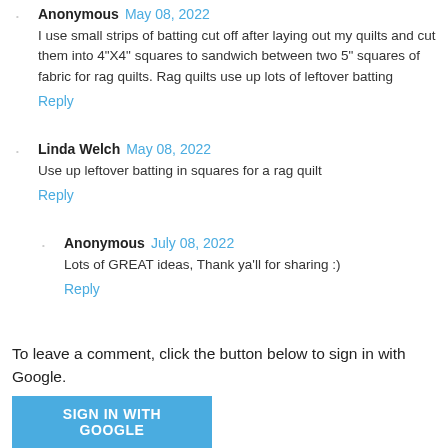Anonymous  May 08, 2022
I use small strips of batting cut off after laying out my quilts and cut them into 4"X4" squares to sandwich between two 5" squares of fabric for rag quilts. Rag quilts use up lots of leftover batting
Reply
Linda Welch  May 08, 2022
Use up leftover batting in squares for a rag quilt
Reply
Anonymous  July 08, 2022
Lots of GREAT ideas, Thank ya'll for sharing :)
Reply
To leave a comment, click the button below to sign in with Google.
SIGN IN WITH GOOGLE